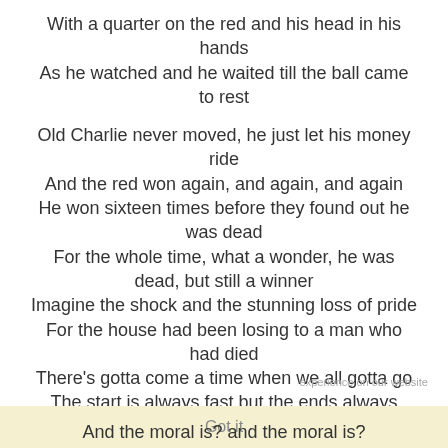With a quarter on the red and his head in his hands
As he watched and he waited till the ball came to rest

Old Charlie never moved, he just let his money ride
And the red won again, and again, and again
He won sixteen times before they found out he was dead
For the whole time, what a wonder, he was dead, but still a winner
Imagine the shock and the stunning loss of pride
For the house had been losing to a man who had died
There's gotta come a time when we all gotta go
The start is always fast but the ends always slow

And the moral is? and the moral is?